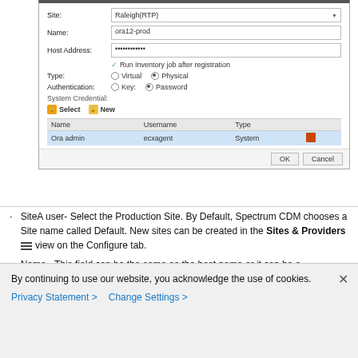[Figure (screenshot): Dialog box for registering a host with fields: Site (Raleigh(RTP)), Name (ora12-prod), Host Address (masked), checkbox for Run Inventory job after registration, Type radio buttons (Virtual/Physical), Authentication radio buttons (Key/Password), System Credential section with Select and New buttons, a table showing Name/Username/Type columns with row 'Ora admin / ecxagent / System', and OK/Cancel buttons.]
SiteA user- Select the Production Site. By Default, Spectrum CDM chooses a Site name called Default. New sites can be created in the Sites & Providers view on the Configure tab.
Name - This field can be the same as the host name or it can be a meaningful name that is used within your organization to refer to the provider. Provider names must be unique.
By continuing to use our website, you acknowledge the use of cookies.
Privacy Statement >   Change Settings >